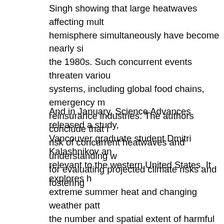Singh showing that large heatwaves affecting multiple parts of a hemisphere simultaneously have become nearly six times more common since the 1980s. Such concurrent events threaten various interconnected systems, including global food chains, emergency management, and reinsurance industries. The authors conclude that improving estimates of risk of concurrent heatwaves and understanding where they co-occur is vital for evaluating projected climate risks and fostering adaptation.
And in January, Science Advances released a study, led by University of British Columbia Vancouver graduate student Dmitri Kalashnikov and colleagues, that is particularly relevant to the western United States. It explores how the combination of extreme summer heat and changing weather patterns in the west increases the number and spatial extent of harmful air quality events. The months of September and August 2020 that simultaneously affected the Pacific Northwest. Such recurring and persistent episodes burden the health system and disaster management. Singh is currently examining how extreme temperatures, such as heat waves and cold waves, affect economic and social structure.